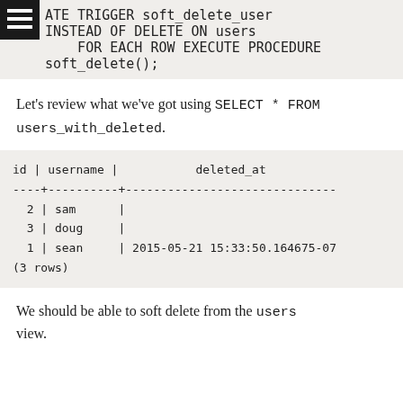[Figure (screenshot): Code block showing SQL trigger: ATE TRIGGER soft_delete_user INSTEAD OF DELETE ON users FOR EACH ROW EXECUTE PROCEDURE soft_delete();]
Let's review what we've got using SELECT * FROM users_with_deleted.
[Figure (screenshot): Terminal output showing table with columns id, username, deleted_at. Rows: 2|sam|, 3|doug|, 1|sean|2015-05-21 15:33:50.164675-07. (3 rows)]
We should be able to soft delete from the users view.